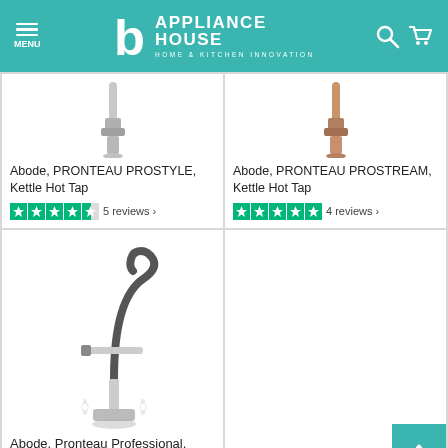APPLIANCE HOUSE HOME & KITCHEN INNOVATION
Abode, PRONTEAU PROSTYLE, Kettle Hot Tap
5 reviews
Abode, PRONTEAU PROSTREAM, Kettle Hot Tap
4 reviews
Abode, Pronteau Professional, Steaming Hot